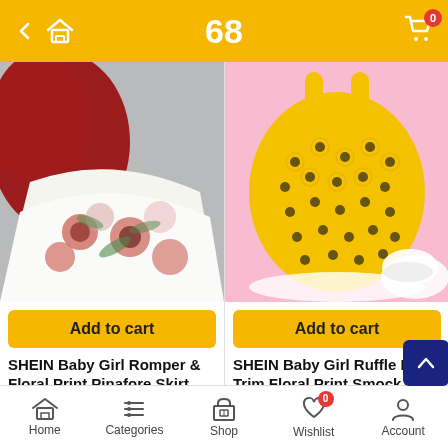68
[Figure (photo): Baby girl romper with floral print pinafore skirt - red and white floral garment on grey background]
[Figure (photo): Baby girl ruffle lace trim floral print smock dress - yellow sunflower dress on pink background with white shoes]
Add to cart
Add to cart
SHEIN Baby Girl Romper & Floral Print Pinafore Skirt
SHEIN Baby Girl Ruffle Lace Trim Floral Print Smock Dress
SHEIN
Home  Categories  Shop  Wishlist  Account